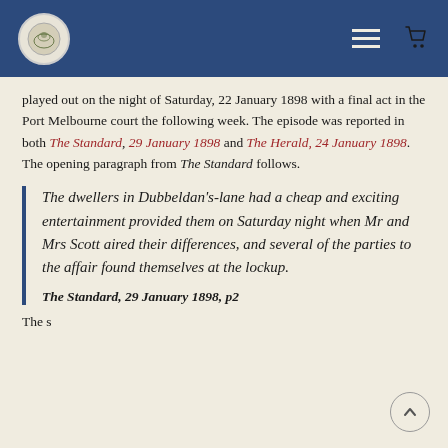Navigation header with logo, hamburger menu, and cart icon
played out on the night of Saturday, 22 January 1898 with a final act in the Port Melbourne court the following week. The episode was reported in both The Standard, 29 January 1898 and The Herald, 24 January 1898. The opening paragraph from The Standard follows.
The dwellers in Dubbeldan’s-lane had a cheap and exciting entertainment provided them on Saturday night when Mr and Mrs Scott aired their differences, and several of the parties to the affair found themselves at the lockup.

The Standard, 29 January 1898, p2
The story...